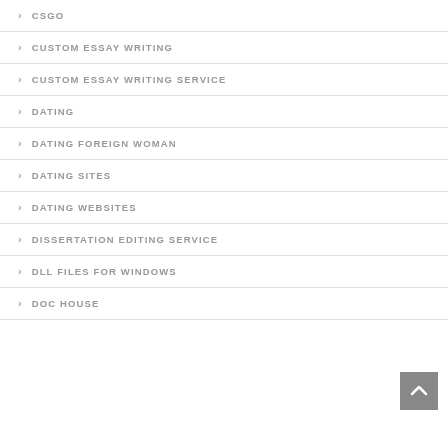CSGO
CUSTOM ESSAY WRITING
CUSTOM ESSAY WRITING SERVICE
DATING
DATING FOREIGN WOMAN
DATING SITES
DATING WEBSITES
DISSERTATION EDITING SERVICE
DLL FILES FOR WINDOWS
DOC HOUSE